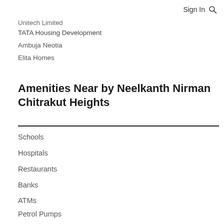Sign In
Unitech Limited
TATA Housing Development
Ambuja Neotia
Elita Homes
Amenities Near by Neelkanth Nirman Chitrakut Heights
Schools
Hospitals
Restaurants
Banks
ATMs
Petrol Pumps